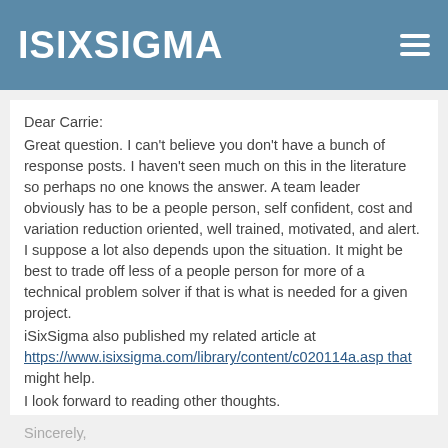ISIXSIGMA
Dear Carrie:
Great question.  I can't believe you don't have a bunch of response posts.  I haven't seen much on this in the literature so perhaps no one knows the answer.  A team leader obviously has to be a people person, self confident, cost and variation reduction oriented, well trained, motivated, and alert.  I suppose a lot also depends upon the situation.  It might be best to trade off less of a people person for more of a technical problem solver if that is what is needed for a given project.
iSixSigma also published my related article at https://www.isixsigma.com/library/content/c020114a.asp that might help.
I look forward to reading other thoughts.
Sincerely,
KN